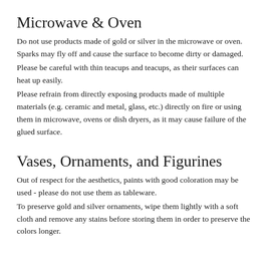Microwave & Oven
Do not use products made of gold or silver in the microwave or oven. Sparks may fly off and cause the surface to become dirty or damaged.
Please be careful with thin teacups and teacups, as their surfaces can heat up easily.
Please refrain from directly exposing products made of multiple materials (e.g. ceramic and metal, glass, etc.) directly on fire or using them in microwave, ovens or dish dryers, as it may cause failure of the glued surface.
Vases, Ornaments, and Figurines
Out of respect for the aesthetics, paints with good coloration may be used - please do not use them as tableware.
To preserve gold and silver ornaments, wipe them lightly with a soft cloth and remove any stains before storing them in order to preserve the colors longer.